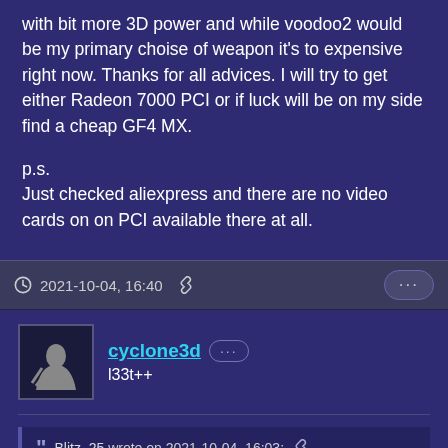with bit more 3D power and while voodoo2 would be my primary choise of weapon it's to expensive right now. Thanks for all advices. I will try to get either Radeon 7000 PCI or if luck will be on my side find a cheap GF4 MX.

p.s.
Just checked aliexpress and there are no video cards on on PCI available there at all.
2021-10-04, 16:40
cyclone3d
l33t++
Blitz_25 wrote on 2021-10-04, 16:03:
Right now my W98 install is sharing dual boot with XP rig and is "over"powered by socket 478 P4 2.6ghz with 512mb SDRAM and G [...]